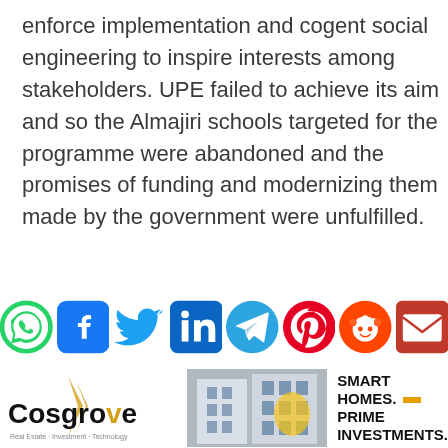enforce implementation and cogent social engineering to inspire interests among stakeholders. UPE failed to achieve its aim and so the Almajiri schools targeted for the programme were abandoned and the promises of funding and modernizing them made by the government were unfulfilled.
[Figure (infographic): Social media share icons row: WhatsApp, Facebook, Twitter, LinkedIn, Telegram, Pinterest, Reddit, Email]
[Figure (infographic): Cosgrove Real Estate advertisement banner with logo, building photo, and text SMART HOMES. PRIME INVESTMENTS.]